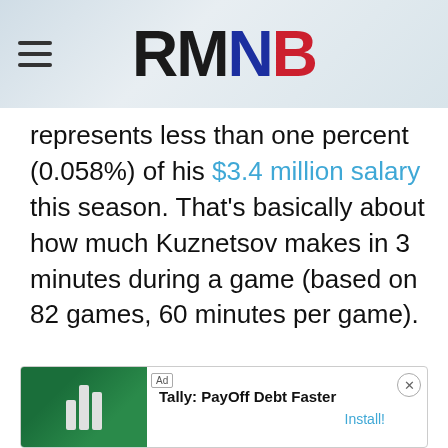RMNB
represents less than one percent (0.058%) of his $3.4 million salary this season. That’s basically about how much Kuznetsov makes in 3 minutes during a game (based on 82 games, 60 minutes per game).
[Figure (other): Ad banner: Tally: PayOff Debt Faster with Install button]